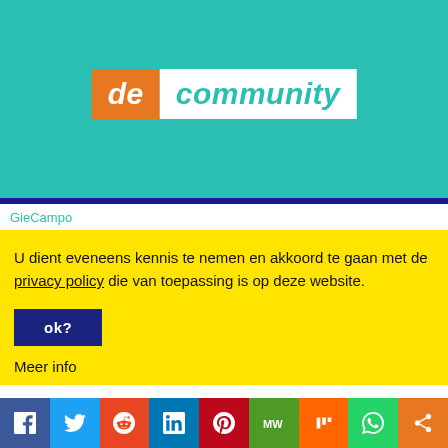[Figure (logo): De Community logo on teal background with orange 'de' and white 'community' text on white/teal banner]
GieCampo
U dient eveneens kennis te nemen en akkoord te gaan met de privacy policy die van toepassing is op deze website.
ok?
Meer info
[Figure (infographic): Social media sharing bar with icons: Facebook, Twitter, Reddit, LinkedIn, Pinterest, MeWe, Mix, WhatsApp, Share]